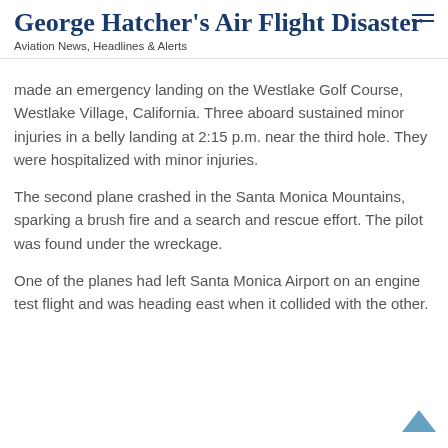George Hatcher's Air Flight Disaster
Aviation News, Headlines & Alerts
made an emergency landing on the Westlake Golf Course, Westlake Village, California. Three aboard sustained minor injuries in a belly landing at 2:15 p.m. near the third hole. They were hospitalized with minor injuries.
The second plane crashed in the Santa Monica Mountains, sparking a brush fire and a search and rescue effort. The pilot was found under the wreckage.
One of the planes had left Santa Monica Airport on an engine test flight and was heading east when it collided with the other.